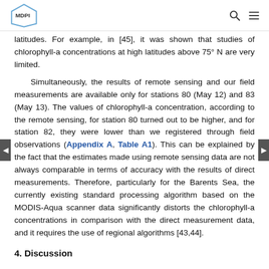MDPI
latitudes. For example, in [45], it was shown that studies of chlorophyll-a concentrations at high latitudes above 75° N are very limited.
Simultaneously, the results of remote sensing and our field measurements are available only for stations 80 (May 12) and 83 (May 13). The values of chlorophyll-a concentration, according to the remote sensing, for station 80 turned out to be higher, and for station 82, they were lower than we registered through field observations (Appendix A, Table A1). This can be explained by the fact that the estimates made using remote sensing data are not always comparable in terms of accuracy with the results of direct measurements. Therefore, particularly for the Barents Sea, the currently existing standard processing algorithm based on the MODIS-Aqua scanner data significantly distorts the chlorophyll-a concentrations in comparison with the direct measurement data, and it requires the use of regional algorithms [43,44].
4. Discussion